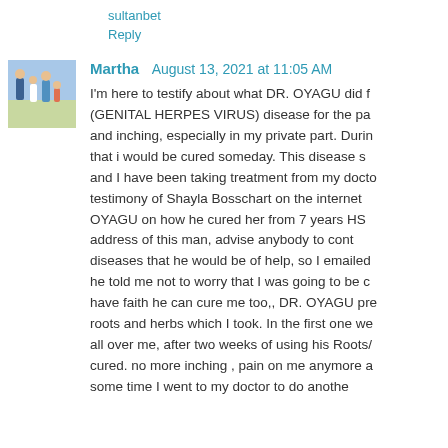sultanbet
Reply
Martha  August 13, 2021 at 11:05 AM
I'm here to testify about what DR. OYAGU did f(GENITAL HERPES VIRUS) disease for the pa and inching, especially in my private part. Durin that i would be cured someday. This disease s and I have been taking treatment from my docto testimony of Shayla Bosschart on the internet OYAGU on how he cured her from 7 years HS address of this man, advise anybody to cont diseases that he would be of help, so I emailed he told me not to worry that I was going to be c have faith he can cure me too,, DR. OYAGU pre roots and herbs which I took. In the first one we all over me, after two weeks of using his Roots/ cured. no more inching , pain on me anymore a some time I went to my doctor to do anothe